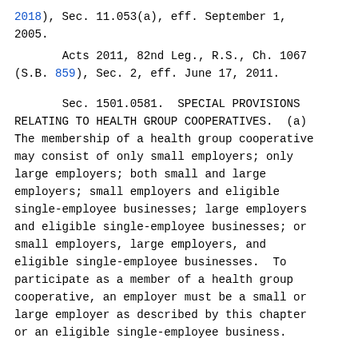2018), Sec. 11.053(a), eff. September 1, 2005.
Acts 2011, 82nd Leg., R.S., Ch. 1067 (S.B. 859), Sec. 2, eff. June 17, 2011.
Sec. 1501.0581. SPECIAL PROVISIONS RELATING TO HEALTH GROUP COOPERATIVES. (a) The membership of a health group cooperative may consist of only small employers; only large employers; both small and large employers; small employers and eligible single-employee businesses; large employers and eligible single-employee businesses; or small employers, large employers, and eligible single-employee businesses. To participate as a member of a health group cooperative, an employer must be a small or large employer as described by this chapter or an eligible single-employee business.